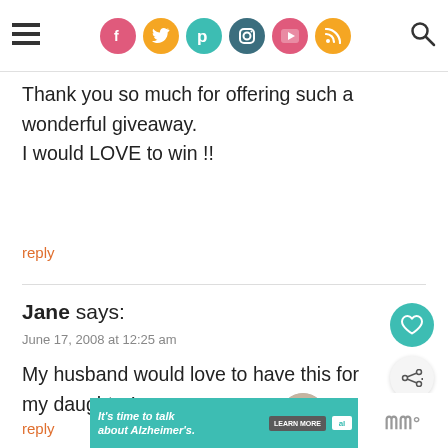Navigation bar with social icons (Facebook, Twitter, Pinterest, Instagram, YouTube, RSS) and search
Thank you so much for offering such a wonderful giveaway.
I would LOVE to win !!
reply
Jane says:
June 17, 2008 at 12:25 am
My husband would love to have this for my daughter!
reply
[Figure (infographic): WHAT'S NEXT arrow — 20 Summer Drinks... with thumbnail image]